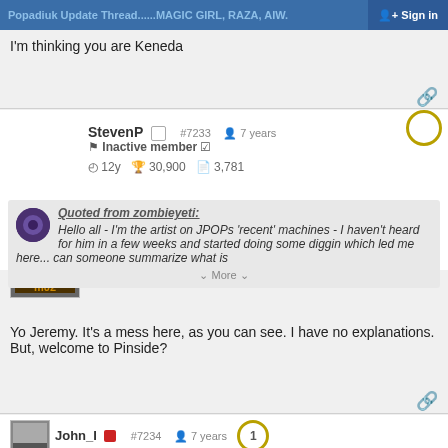Popadiuk Update Thread......MAGIC GIRL, RAZA, AIW.   Sign in
I'm thinking you are Keneda
StevenP  #7233  7 years  5
Inactive member
12y  30,900  3,781
Quoted from zombieyeti:
Hello all - I'm the artist on JPOPs 'recent' machines - I haven't heard for him in a few weeks and started doing some diggin which led me here... can someone summarize what is
~ More ~
Yo Jeremy. It's a mess here, as you can see. I have no explanations. But, welcome to Pinside?
John_I  #7234  7 years  1